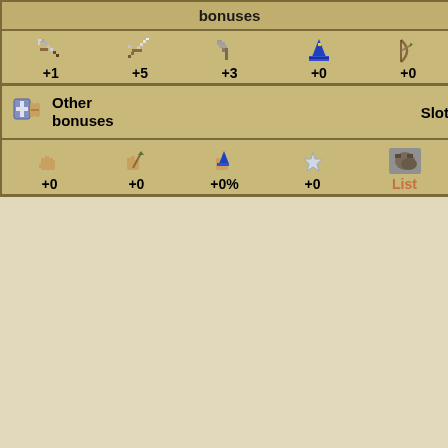[Figure (screenshot): OSRS item stats panel showing attack bonuses (+1, +5, +3, +0, +0) and other bonuses (+0, +0, +0%, +0) with Slot and List labels, alongside character model images showing green and red legs/boots]
∨ Products
∨ Shop locations
∨ Navigation